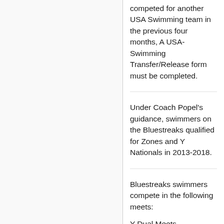competed for another USA Swimming team in the previous four months, A USA-Swimming Transfer/Release form must be completed.
Under Coach Popel's guidance, swimmers on the Bluestreaks qualified for Zones and Y Nationals in 2013-2018.
Bluestreaks swimmers compete in the following meets:
Y Dual Meets
Y Championship